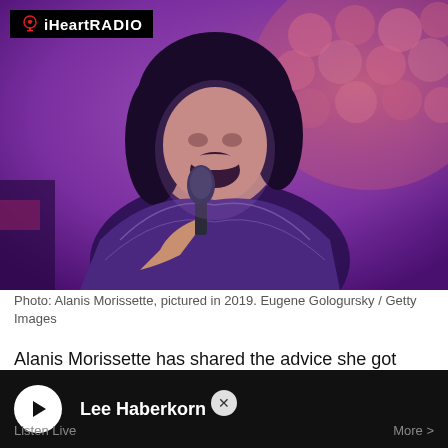[Figure (photo): Alanis Morissette performing on stage, laughing/singing into a microphone, wearing a sparkly grey outfit. Purple stage lighting with bokeh circle lights in the background. iHeartRadio logo overlay in top left corner.]
Photo: Alanis Morissette, pictured in 2019. Eugene Gologursky / Getty Images
Alanis Morissette has shared the advice she got from her father Alan as she was breaking into show business in Ottawa.
Lee Haberkorn
Listen Live
More >